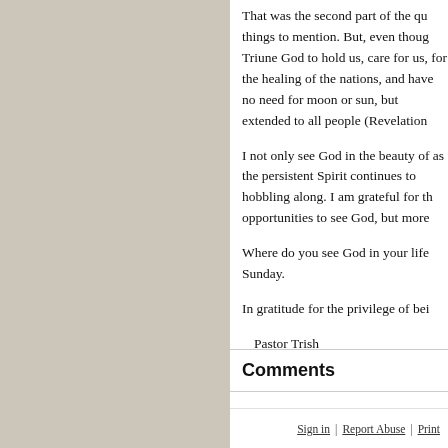That was the second part of the qu things to mention. But, even thoug Triune God to hold us, care for us, for the healing of the nations, and have no need for moon or sun, but extended to all people (Revelation
I not only see God in the beauty of as the persistent Spirit continues to hobbling along. I am grateful for th opportunities to see God, but more
Where do you see God in your life Sunday.
In gratitude for the privilege of bei
Pastor Trish
Comments
Sign in | Report Abuse | Print